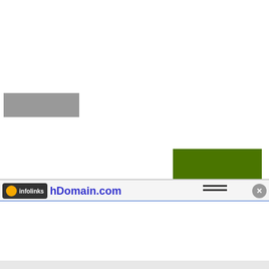[Figure (other): Gray rectangle placeholder on white background]
[Figure (other): Dark green rectangle placeholder on white background]
[Figure (screenshot): infolinks advertisement banner showing BELK - Denim all day. www.belk.com with navigation arrow button]